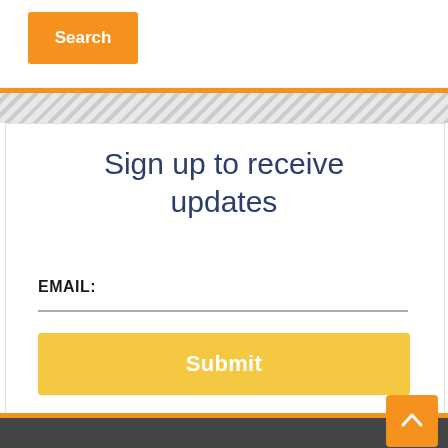Search
Sign up to receive updates
EMAIL:
Submit